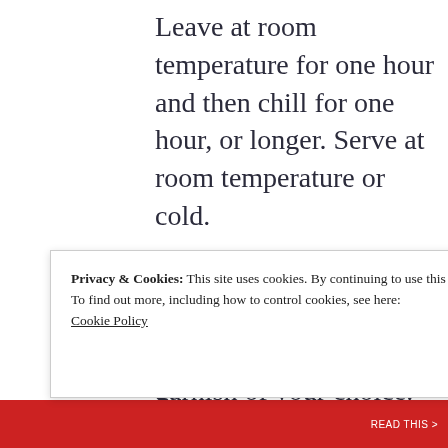Leave at room temperature for one hour and then chill for one hour, or longer. Serve at room temperature or cold.
Garnish, if desired with a lemon slice and blueberries or other garnish of your choice.
Notes:
Privacy & Cookies: This site uses cookies. By continuing to use this website, you agree to their use. To find out more, including how to control cookies, see here: Cookie Policy